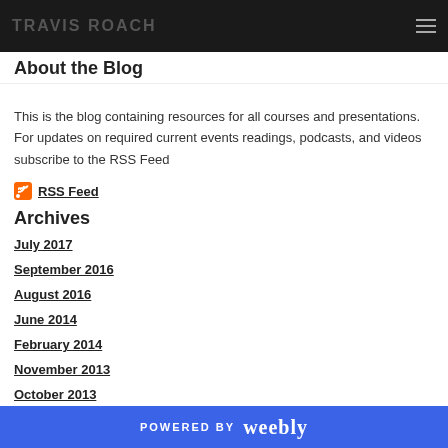TRAVIS ROACH
About the Blog
This is the blog containing resources for all courses and presentations. For updates on required current events readings, podcasts, and videos subscribe to the RSS Feed
RSS Feed
Archives
July 2017
September 2016
August 2016
June 2014
February 2014
November 2013
October 2013
September 2013
POWERED BY weebly